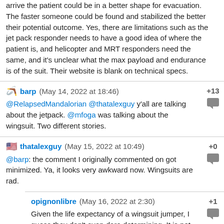arrive the patient could be in a better shape for evacuation. The faster someone could be found and stabilized the better their potential outcome. Yes, there are limitations such as the jet pack responder needs to have a good idea of where the patient is, and helicopter and MRT responders need the same, and it's unclear what the max payload and endurance is of the suit. Their website is blank on technical specs.
barp (May 14, 2022 at 18:46) +13 @RelapsedMandalorian @thatalexguy y'all are talking about the jetpack. @mfoga was talking about the wingsuit. Two different stories.
thatalexguy (May 15, 2022 at 10:49) +0 @barp: the comment I originally commented on got minimized. Ya, it looks very awkward now. Wingsuits are rad.
opignonlibre (May 16, 2022 at 2:30) +1 Given the life expectancy of a wingsuit jumper, I guess they don't even dare determining. It is not a matter of if but how soon they will both die from their silly hobby anyway.
Brklss (May 15, 2022 at 1:21) +9